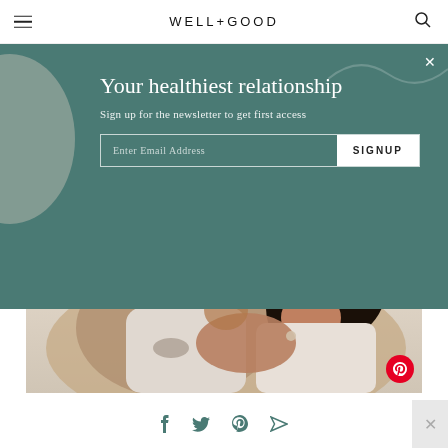WELL+GOOD
Your healthiest relationship
Sign up for the newsletter to get first access
[Figure (photo): A couple sharing an intimate moment; one person kisses the other on the cheek/neck; warm, joyful expression; lifestyle wellness photography]
Photo: Getty Images/Hex
Social share icons: Facebook, Twitter, Pinterest, Email